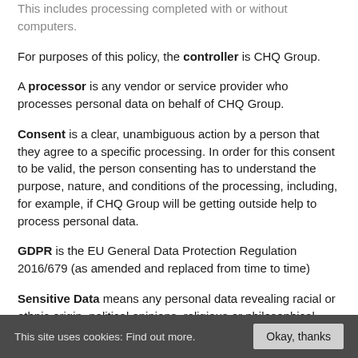This includes processing completed with or without computers.
For purposes of this policy, the controller is CHQ Group.
A processor is any vendor or service provider who processes personal data on behalf of CHQ Group.
Consent is a clear, unambiguous action by a person that they agree to a specific processing. In order for this consent to be valid, the person consenting has to understand the purpose, nature, and conditions of the processing, including, for example, if CHQ Group will be getting outside help to process personal data.
GDPR is the EU General Data Protection Regulation 2016/679 (as amended and replaced from time to time)
Sensitive Data means any personal data revealing racial or ethnic origin, political opinions, religious or philosophical beliefs, or trade union membership, genetic data, biometric data, data concerning health, data concerning a person's sex life or sexual orientation.
This site uses cookies: Find out more. Okay, thanks